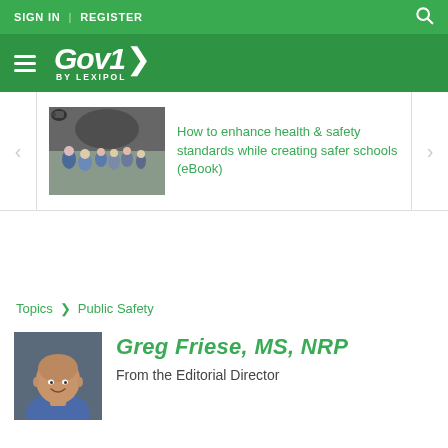SIGN IN | REGISTER
[Figure (logo): Gov1 by Lexipol logo on green navigation bar]
[Figure (photo): School hallway/entrance with students and security camera, carousel card linking to eBook]
How to enhance health & safety standards while creating safer schools (eBook)
Topics > Public Safety
[Figure (photo): Headshot of Greg Friese, MS, NRP — male, bald, wearing blue shirt, smiling]
Greg Friese, MS, NRP
From the Editorial Director